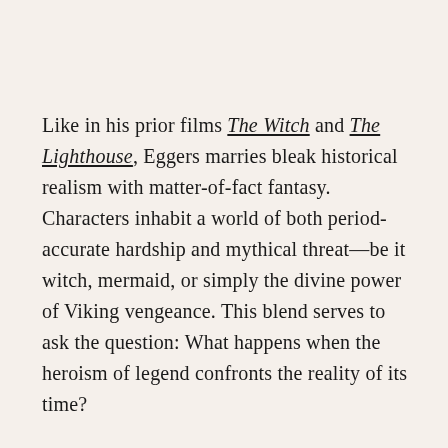Like in his prior films The Witch and The Lighthouse, Eggers marries bleak historical realism with matter-of-fact fantasy. Characters inhabit a world of both period-accurate hardship and mythical threat—be it witch, mermaid, or simply the divine power of Viking vengeance. This blend serves to ask the question: What happens when the heroism of legend confronts the reality of its time?
The Northman's unsentimental portrait of Prince Amleth answers with a twist that serves to